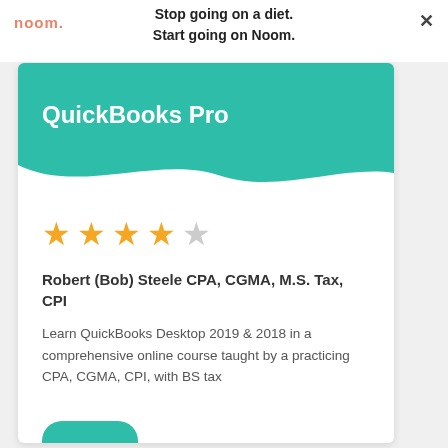[Figure (screenshot): Noom advertisement banner with logo on left, text 'Stop going on a diet. Start going on Noom.' centered, and X close button on right]
QuickBooks Pro
[Figure (other): 4 out of 5 star rating display with 4 filled gold stars and 1 empty/outline star]
Robert (Bob) Steele CPA, CGMA, M.S. Tax, CPI
Learn QuickBooks Desktop 2019 & 2018 in a comprehensive online course taught by a practicing CPA, CGMA, CPI, with BS tax